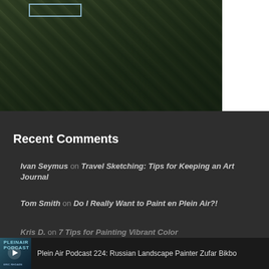[Figure (photo): Dark forest/nature photo with a small bordered button overlay in the upper left area]
Recent Comments
Ivan Seymus on Travel Sketching: Tips for Keeping an Art Journal
Tom Smith on Do I Really Want to Paint en Plein Air?!
Kris D. on 7 Tips for Painting Vibrant Color
Plein Air Podcast 224: Russian Landscape Painter Zufar Bikbo